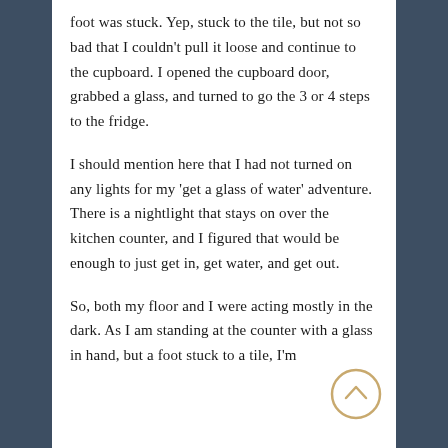foot was stuck. Yep, stuck to the tile, but not so bad that I couldn't pull it loose and continue to the cupboard. I opened the cupboard door, grabbed a glass, and turned to go the 3 or 4 steps to the fridge.

I should mention here that I had not turned on any lights for my 'get a glass of water' adventure. There is a nightlight that stays on over the kitchen counter, and I figured that would be enough to just get in, get water, and get out.

So, both my floor and I were acting mostly in the dark. As I am standing at the counter with a glass in hand, but a foot stuck to a tile, I'm